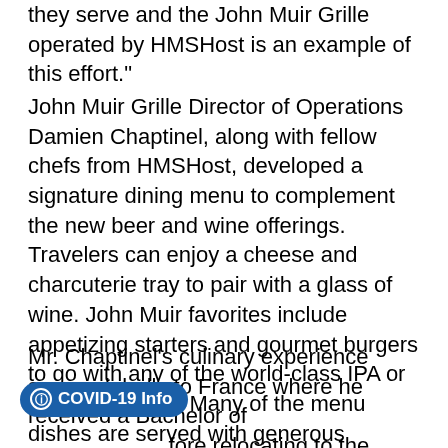they serve and the John Muir Grille operated by HMSHost is an example of this effort."
John Muir Grille Director of Operations Damien Chaptinel, along with fellow chefs from HMSHost, developed a signature dining menu to complement the new beer and wine offerings. Travelers can enjoy a cheese and charcuterie tray to pair with a glass of wine. John Muir favorites include appetizing starters and gourmet burgers to go with any of the world-class IPA or seasonal drafts. Many of the menu dishes are served with generous portions to share with friends.
Mr. Chaptinel's culinary experience spans globally to France where he received a Bachelor of fore relocating to the United States as part of his military service in the Navy